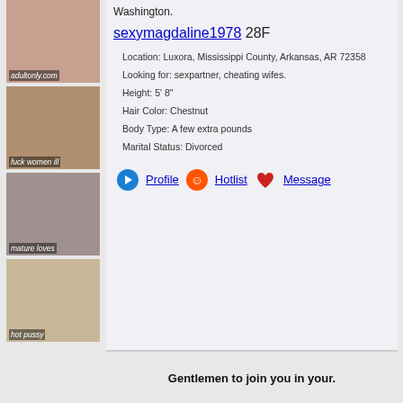[Figure (photo): Thumbnail image of a woman, labeled with website watermark]
[Figure (photo): Thumbnail image labeled 'fuck women ill']
[Figure (photo): Thumbnail image labeled 'mature loves']
[Figure (photo): Thumbnail image labeled 'hot pussy']
Washington.
sexymagdaline1978 28F
Location: Luxora, Mississippi County, Arkansas, AR 72358
Looking for: sexpartner, cheating wifes.
Height: 5' 8"
Hair Color: Chestnut
Body Type: A few extra pounds
Marital Status: Divorced
Profile   Hotlist   Message
Gentlemen to join you in your.